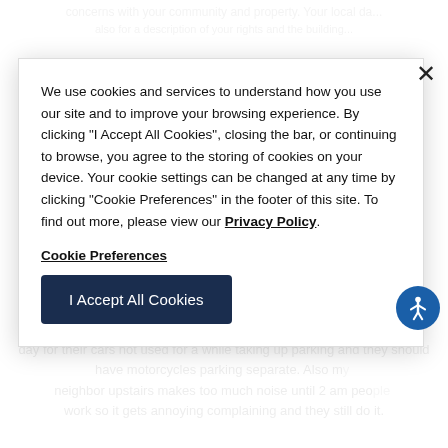concerns with your community and property. Your local da...
We use cookies and services to understand how you use our site and to improve your browsing experience. By clicking "I Accept All Cookies", closing the bar, or continuing to browse, you agree to the storing of cookies on your device. Your cookie settings can be changed at any time by clicking "Cookie Preferences" in the footer of this site. To find out more, please view our Privacy Policy.
Cookie Preferences
I Accept All Cookies
they should have motorcycles parking separate. Also my neighbor upstairs makes too much noise until 2 am people work so it gets annoying complaining and they still do it.
RESPONSE FROM PROPERTY - AUG 02, 2022
Thank you for taking time and reaching out. Your